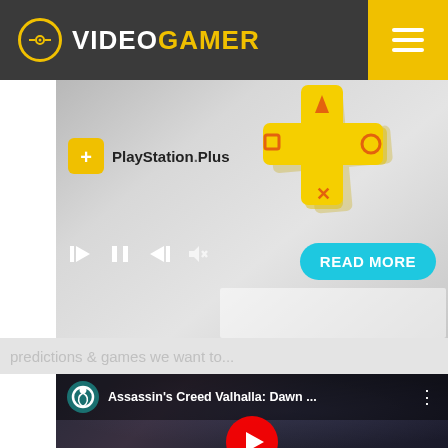VideoGamer
[Figure (screenshot): PlayStation Plus promotional banner with golden cross symbol, media playback controls, and a cyan READ MORE button]
predictions & games we want to...
[Figure (screenshot): YouTube embed thumbnail for Assassin's Creed Valhalla: Dawn... showing a character with Ubisoft logo in top bar and YouTube play button]